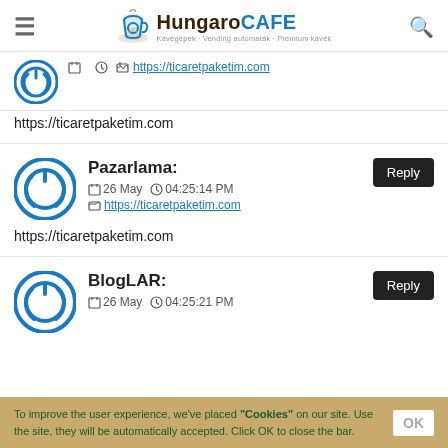HungaroCAFE — Kávégépek · Vending automaták · Prémium kávék
https://ticaretpaketim.com
https://ticaretpaketim.com
Pazarlama: 26 May 04:25:14 PM https://ticaretpaketim.com
https://ticaretpaketim.com
BlogLAR: 26 May 04:25:21 PM
To improve the user experience, we've placed "Cookies" on our site. Use the site, they will be automatically accepted. Click OK to close the bar.